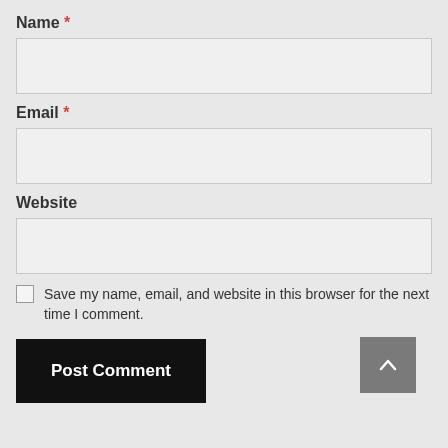Name *
[Figure (other): Empty text input box for Name field]
Email *
[Figure (other): Empty text input box for Email field]
Website
[Figure (other): Empty text input box for Website field]
Save my name, email, and website in this browser for the next time I comment.
[Figure (other): Post Comment button (black) and scroll-to-top button (grey with upward chevron)]